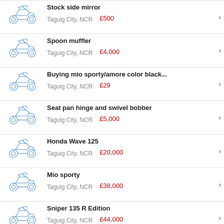Stock side mirror | Taguig City, NCR | £500
Spoon muffler | Taguig City, NCR | £4,000
Buying mio sporty/amore color black... | Taguig City, NCR | £29
Seat pan hinge and swivel bobber | Taguig City, NCR | £5,000
Honda Wave 125 | Taguig City, NCR | £20,000
Mio sporty | Taguig City, NCR | £38,000
Sniper 135 R Edition | Taguig City, NCR | £44,000
Mio sporty